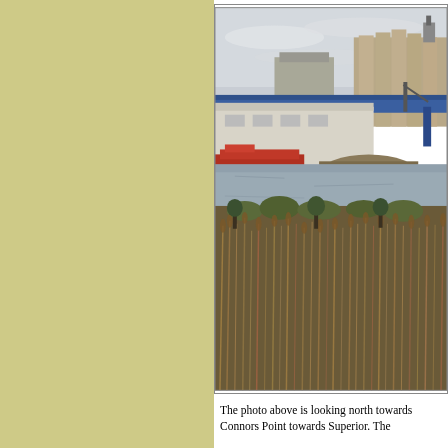[Figure (photo): Photograph looking north towards Connors Point towards Superior. Shows an industrial waterfront scene with a blue bridge structure, grain elevators or industrial silos in the background, a warehouse building, red barge or boat near the shore, a river or bay in the middle, and tall dry grasses/reeds in the foreground. Overcast sky.]
The photo above is looking north towards Connors Point towards Superior. The